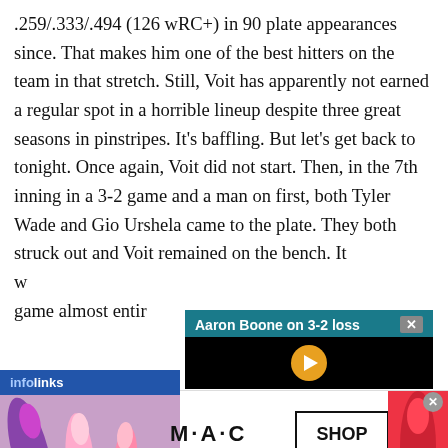.259/.333/.494 (126 wRC+) in 90 plate appearances since. That makes him one of the best hitters on the team in that stretch. Still, Voit has apparently not earned a regular spot in a horrible lineup despite three great seasons in pinstripes. It’s baffling. But let’s get back to tonight. Once again, Voit did not start. Then, in the 7th inning in a 3-2 game and a man on first, both Tyler Wade and Gio Urshela came to the plate. They both struck out and Voit remained on the bench. It w… game almost entir…
[Figure (screenshot): Overlay popup showing 'Aaron Boone on 3-2 loss' video thumbnail with close button, over partially obscured article text. Infolinks branding bar visible at lower left.]
[Figure (photo): M·A·C cosmetics advertisement showing lipsticks in purple, pink, and red colors, M·A·C logo, and a 'SHOP NOW' box with close button.]